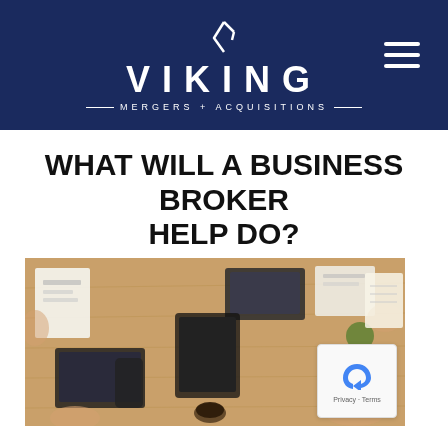[Figure (logo): Viking Mergers + Acquisitions logo on dark navy blue header background with hamburger menu icon]
WHAT WILL A BUSINESS BROKER HELP DO?
[Figure (photo): Overhead/bird's eye view of business people sitting around a wooden table with laptops, tablets, phones, documents, calculators and coffee cups]
[Figure (other): Google reCAPTCHA badge with Privacy and Terms links]